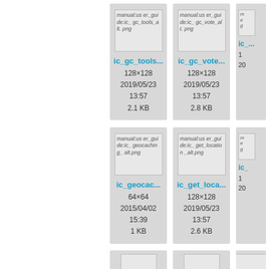[Figure (screenshot): File card for ic_gc_tools alt.png showing image placeholder, filename link 'ic_gc_tools...', dimensions 128×128, date 2019/05/23, time 13:57, size 2.1 KB]
[Figure (screenshot): File card for ic_gc_vote_alt.png showing image placeholder, filename link 'ic_gc_vote...', dimensions 128×128, date 2019/05/23, time 13:57, size 2.8 KB]
[Figure (screenshot): Partial file card (third column, row 1), partially visible]
[Figure (screenshot): File card for ic_geocaching_alt.png showing image placeholder, filename link 'ic_geocac...', dimensions 64×64, date 2015/04/02, time 15:39, size 1 KB]
[Figure (screenshot): File card for ic_get_location_alt.png showing image placeholder, filename link 'ic_get_loca...', dimensions 128×128, date 2019/05/23, time 13:57, size 2.6 KB]
[Figure (screenshot): Partial file card (third column, row 2), partially visible]
[Figure (screenshot): Partial file cards in row 3, partially visible at bottom]